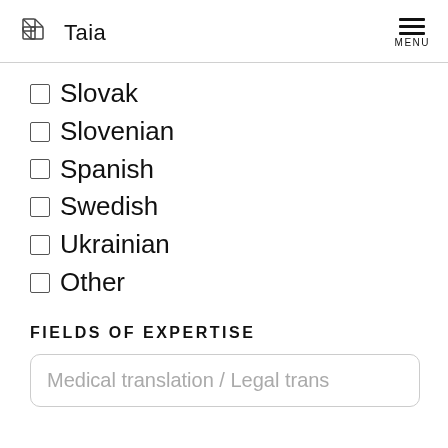Taia  MENU
Slovak
Slovenian
Spanish
Swedish
Ukrainian
Other
FIELDS OF EXPERTISE
Medical translation / Legal trans